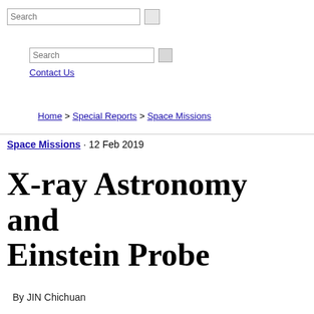Search [search button]
Search [search button]
Contact Us
Home > Special Reports > Space Missions
Space Missions · 12 Feb 2019
X-ray Astronomy and Einstein Probe
By JIN Chichuan